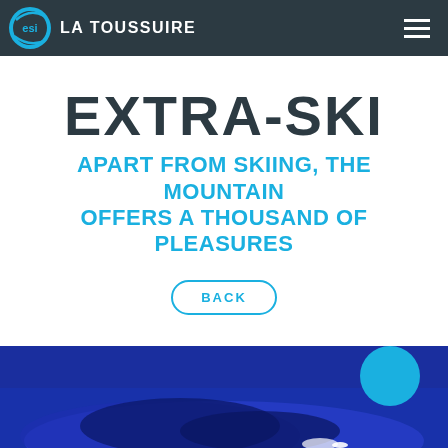ESI LA TOUSSUIRE
EXTRA-SKI
APART FROM SKIING, THE MOUNTAIN OFFERS A THOUSAND OF PLEASURES
BACK
[Figure (photo): Night ski slope photo with blue lighting and a teal circle element in the upper right corner]